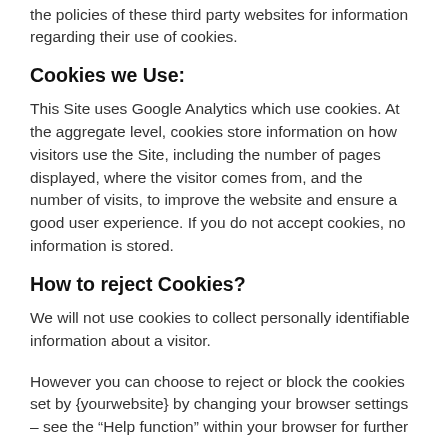the policies of these third party websites for information regarding their use of cookies.
Cookies we Use:
This Site uses Google Analytics which use cookies. At the aggregate level, cookies store information on how visitors use the Site, including the number of pages displayed, where the visitor comes from, and the number of visits, to improve the website and ensure a good user experience. If you do not accept cookies, no information is stored.
How to reject Cookies?
We will not use cookies to collect personally identifiable information about a visitor.
However you can choose to reject or block the cookies set by {yourwebsite} by changing your browser settings – see the “Help function” within your browser for further